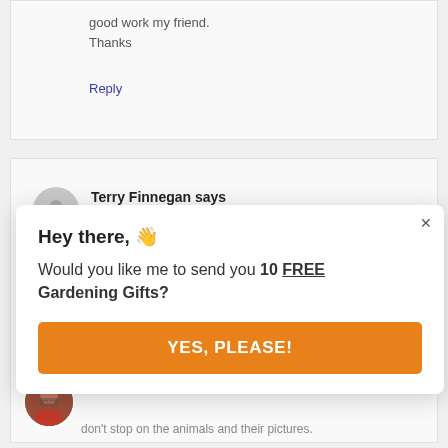good work my friend.
Thanks
Reply
Terry Finnegan says
JUNE 30, 2015 AT 1:19 PM
[Figure (other): Popup dialog with hey there waving hand emoji, text about 10 FREE Gardening Gifts, and YES PLEASE orange button]
don't stop on the animals and their pictures.